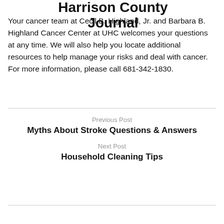Harrison County Journal
Your cancer team at Cecil B. Highland, Jr. and Barbara B. Highland Cancer Center at UHC welcomes your questions at any time. We will also help you locate additional resources to help manage your risks and deal with cancer. For more information, please call 681-342-1830.
Previous Post
Myths About Stroke Questions & Answers
Next Post
Household Cleaning Tips